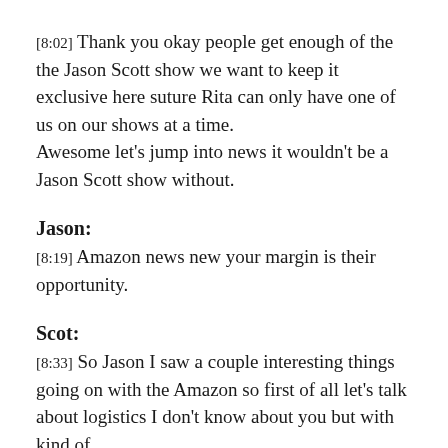[8:02] Thank you okay people get enough of the the Jason Scott show we want to keep it exclusive here suture Rita can only have one of us on our shows at a time. Awesome let's jump into news it wouldn't be a Jason Scott show without.
Jason:
[8:19] Amazon news new your margin is their opportunity.
Scot:
[8:33] So Jason I saw a couple interesting things going on with the Amazon so first of all let's talk about logistics I don't know about you but with kind of